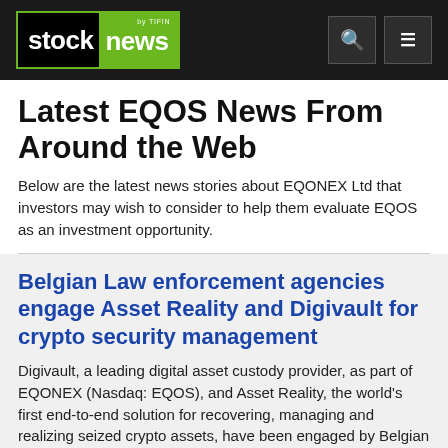stock news by TIFIN
Latest EQOS News From Around the Web
Below are the latest news stories about EQONEX Ltd that investors may wish to consider to help them evaluate EQOS as an investment opportunity.
Belgian Law enforcement agencies engage Asset Reality and Digivault for crypto security management
Digivault, a leading digital asset custody provider, as part of EQONEX (Nasdaq: EQOS), and Asset Reality, the world's first end-to-end solution for recovering, managing and realizing seized crypto assets, have been engaged by Belgian law enforcement agencies to provide recovery, storage and